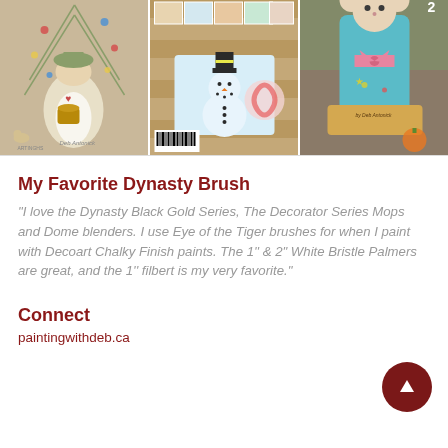[Figure (photo): Three craft/painting images side by side: left - folk art painting of a woman holding a basket under a Christmas tree; center - snowman painting on wooden planks with other folk art pieces; right - painted wooden doll figure with a 'by Deb Antonick' sign]
My Favorite Dynasty Brush
"I love the Dynasty Black Gold Series, The Decorator Series Mops and Dome blenders. I use Eye of the Tiger brushes for when I paint with Decoart Chalky Finish paints. The 1'' & 2" White Bristle Palmers are great, and the 1'' filbert is my very favorite."
Connect
paintingwithdeb.ca